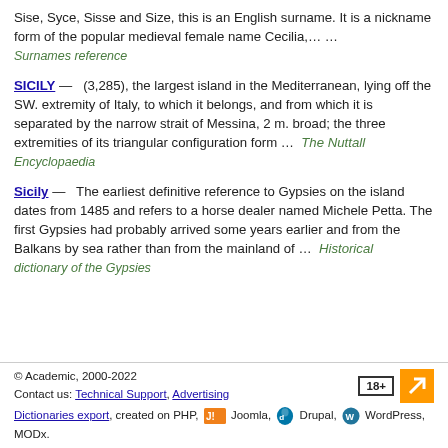Sise, Syce, Sisse and Size, this is an English surname. It is a nickname form of the popular medieval female name Cecilia,… …
Surnames reference
SICILY — (3,285), the largest island in the Mediterranean, lying off the SW. extremity of Italy, to which it belongs, and from which it is separated by the narrow strait of Messina, 2 m. broad; the three extremities of its triangular configuration form … The Nuttall Encyclopaedia
Sicily — The earliest definitive reference to Gypsies on the island dates from 1485 and refers to a horse dealer named Michele Petta. The first Gypsies had probably arrived some years earlier and from the Balkans by sea rather than from the mainland of … Historical dictionary of the Gypsies
© Academic, 2000-2022
Contact us: Technical Support, Advertising
Dictionaries export, created on PHP, Joomla, Drupal, WordPress, MODx.